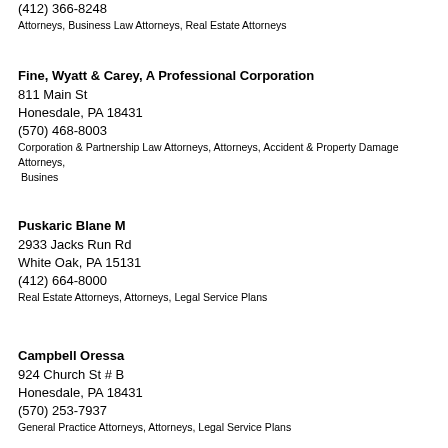(412) 366-8248
Attorneys, Business Law Attorneys, Real Estate Attorneys
Fine, Wyatt & Carey, A Professional Corporation
811 Main St
Honesdale, PA 18431
(570) 468-8003
Corporation & Partnership Law Attorneys, Attorneys, Accident & Property Damage Attorneys, Busines
Puskaric Blane M
2933 Jacks Run Rd
White Oak, PA 15131
(412) 664-8000
Real Estate Attorneys, Attorneys, Legal Service Plans
Campbell Oressa
924 Church St # B
Honesdale, PA 18431
(570) 253-7937
General Practice Attorneys, Attorneys, Legal Service Plans